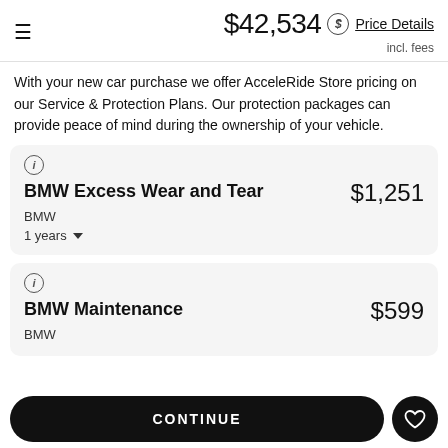$42,534 incl. fees · Price Details
With your new car purchase we offer AcceleRide Store pricing on our Service & Protection Plans. Our protection packages can provide peace of mind during the ownership of your vehicle.
BMW Excess Wear and Tear · BMW · 1 years · $1,251
BMW Maintenance · BMW · $599